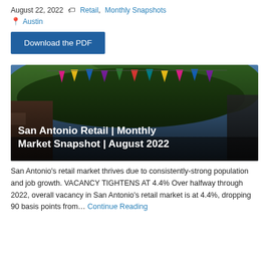August 22, 2022 🏷 Retail, Monthly Snapshots
📍 Austin
Download the PDF
[Figure (photo): Colorful papel picado flags hanging between trees with a bright outdoor market scene; overlaid white bold text reading 'San Antonio Retail | Monthly Market Snapshot | August 2022']
San Antonio's retail market thrives due to consistently-strong population and job growth. VACANCY TIGHTENS AT 4.4% Over halfway through 2022, overall vacancy in San Antonio's retail market is at 4.4%, dropping 90 basis points from… Continue Reading